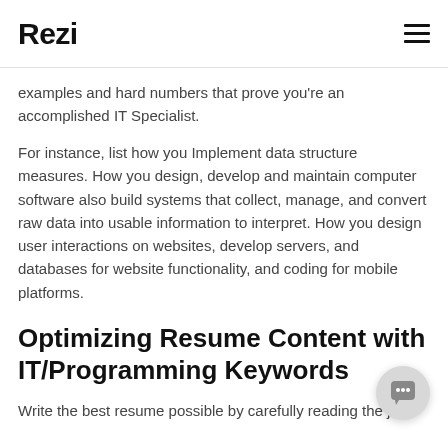Rezi
examples and hard numbers that prove you're an accomplished IT Specialist.
For instance, list how you Implement data structure measures. How you design, develop and maintain computer software also build systems that collect, manage, and convert raw data into usable information to interpret. How you design user interactions on websites, develop servers, and databases for website functionality, and coding for mobile platforms.
Optimizing Resume Content with IT/Programming Keywords
Write the best resume possible by carefully reading the job